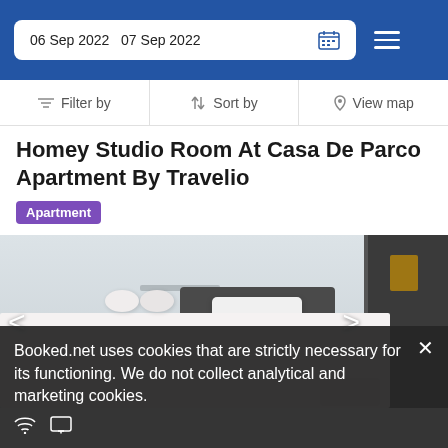06 Sep 2022  07 Sep 2022
Filter by  Sort by  View map
Homey Studio Room At Casa De Parco Apartment By Travelio
Apartment
[Figure (photo): Hotel room photo showing a single bed with white sheets, two rolled towels, a dark headboard, white walls, and a dark closet/door area on the right.]
Booked.net uses cookies that are strictly necessary for its functioning. We do not collect analytical and marketing cookies.